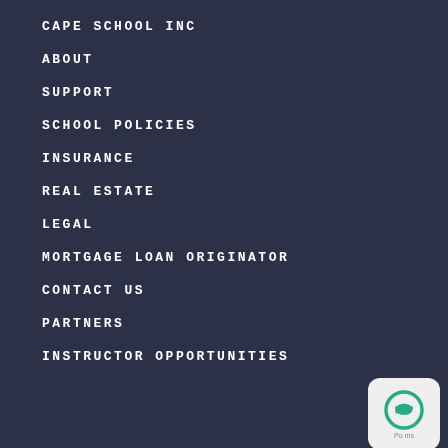CAPE SCHOOL INC
ABOUT
SUPPORT
SCHOOL POLICIES
INSURANCE
REAL ESTATE
LEGAL
MORTGAGE LOAN ORIGINATOR
CONTACT US
PARTNERS
INSTRUCTOR OPPORTUNITIES
[Figure (illustration): Chat widget button with speech bubble icon in green, bottom-right corner]